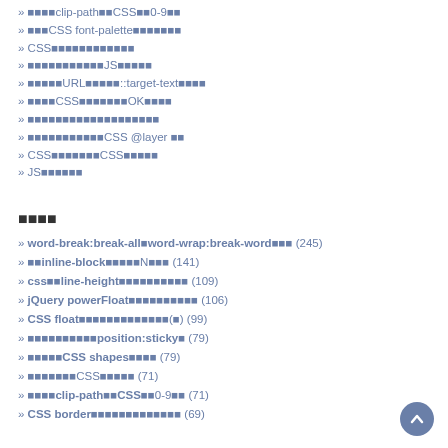» ■■■■clip-path■■CSS■■0-9■■
» ■■■CSS font-palette■■■■■■■
» CSS■■■■■■■■■■■■
» ■■■■■■■■■■■JS■■■■■
» ■■■■■URL■■■■■::target-text■■■■
» ■■■■CSS■■■■■■■OK■■■■
» ■■■■■■■■■■■■■■■■■■■
» ■■■■■■■■■■■CSS @layer ■■
» CSS■■■■■■■CSS■■■■■
» JS■■■■■■
■■■■
» word-break:break-all■word-wrap:break-word■■■ (245)
» ■■inline-block■■■■■N■■■ (141)
» css■■line-height■■■■■■■■■■ (109)
» jQuery powerFloat■■■■■■■■■■ (106)
» CSS float■■■■■■■■■■■■■(■) (99)
» ■■■■■■■■■■position:sticky■ (79)
» ■■■■■CSS shapes■■■■ (79)
» ■■■■■■■CSS■■■■■ (71)
» ■■■■clip-path■■CSS■■0-9■■ (71)
» CSS border■■■■■■■■■■■■■ (69)